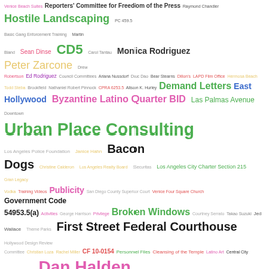[Figure (infographic): Tag cloud / word cloud composed of government, legal, and civic-related terms in various sizes and colors including: Venice Beach Suites, Reporters' Committee for Freedom of the Press, Raymond Chandler, Hostile Landscaping, PC 459.5, Basic Gang Enforcement Training, Martin, Bland, Sean Dinse, CD5, Carol Tantau, Monica Rodriguez, Peter Zarcone, Drew, Robertson, Ed Rodriguez, Council Committees, Ariana Nussdorf, Duc Dao, Bear Stearns, Dillon's, LAPD Film Office, Hermosa Beach, Todd Steba, Brookfield, Nathaniel Robert Pinnock, CPRA 6253.5, Alison K. Hurley, Demand Letters, East Hollywood, Byzantine Latino Quarter BID, Las Palmas Avenue, Downtown, Urban Place Consulting, Los Angeles Police Foundation, Janice Hahn, Bacon Dogs, Christine Calderon, Los Angeles Realty Board, Securitas, Los Angeles City Charter Section 215, Gran Legacy, Vodka, Training Videos, Publicity, San Diego County Superior Court, Venice Four Square Church, Government Code 54953.5(a), Activities, George Harrison, Privilege, Broken Windows, Courtney Serrato, Takao Suzuki, Jed Wallace, Theme Parks, First Street Federal Courthouse, Hollywood Design Review Committee, Christian Loza, Rachel Miller, CF 10-0154, Personnel Files, Cleansing of the Temple, Latino Art, Central City, Police Boosters, Dan Halden, Eastman Avenue Elementary School, Working 9 to 5 Ain't No Way to Make a Living, Guardian Angels, Oath of Office, Brian Raboin, AirBnB, DW Griffith, 2007, Free Speech, William Pereira, Emails, Sadism, Opportunity Zones, Maya Hylton Garza, Endeavor College Preparatory School, Lulu, Woldemariam, Homeless Encampments, Horace Frank, Blackhollywoodmatters, Harry Eddo, The Reef, Michael Ling, Ed Ruscha, Civics Class, Elvirita, Yordy Ochoa, Los Angeles County Mental Health Commission, Heatha Bee, Rocketdyne Cleanup Coalition, BID Academy, Debra Gonzalez, Arcadia, Homelessness, Clean Streets Initiative, Coordinated Universal Time, Department of Housing and Urban Development, Hortigasy Los Angeles, Mike Parker, Diokures, CPRA 6253.4(b), 8150 Sunset Blvd]